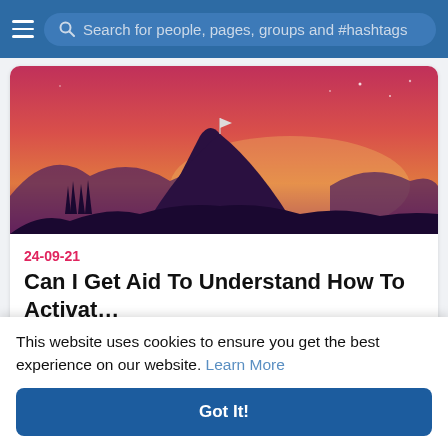Search for people, pages, groups and #hashtags
[Figure (illustration): A stylized landscape illustration with dark purple mountain silhouettes against a vibrant pink-to-orange sunset sky with stars]
24-09-21
Can I Get Aid To Understand How To Activat...
new york
[Figure (screenshot): Two partial thumbnail images side by side showing game characters in purple and teal outfits]
This website uses cookies to ensure you get the best experience on our website. Learn More
Got It!